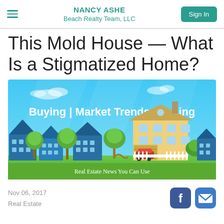NANCY ASHE Beach Realty Team, LLC
This Mold House — What Is a Stigmatized Home?
[Figure (infographic): Real estate infographic banner showing illustrated neighborhood with blue houses, green trees, a yellow house with red car in garage. Text overlay reads 'Buying | Market Trends | Selling' and 'Real Estate News You Can Use']
Nov 06, 2017
Real Estate